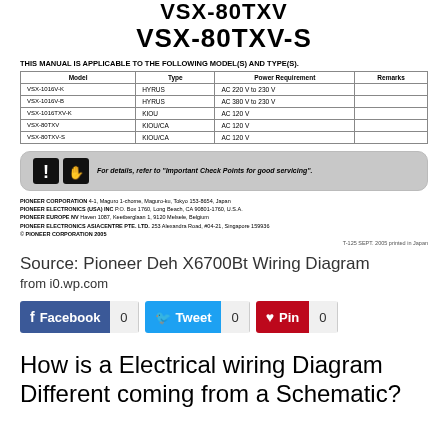VSX-80TXV VSX-80TXV-S
THIS MANUAL IS APPLICABLE TO THE FOLLOWING MODEL(S) AND TYPE(S).
| Model | Type | Power Requirement | Remarks |
| --- | --- | --- | --- |
| VSX-1016V-K | HYRUS | AC 220 V to 230 V |  |
| VSX-1016V-B | HYRUS | AC 380 V to 230 V |  |
| VSX-1016TXV-K | KIOU | AC 120 V |  |
| VSX-80TXV | KIOU/CA | AC 120 V |  |
| VSX-80TXV-S | KIOU/CA | AC 120 V |  |
[Figure (infographic): Warning box with exclamation and hand icons. Text: For details, refer to 'Important Check Points for good servicing'.]
PIONEER CORPORATION  4-1, Maguro 1-chome, Maguro-ku, Tokyo 153-8654, Japan
PIONEER ELECTRONICS (USA) INC  P.O. Box 1760, Long Beach, CA 90801-1760, U.S.A.
PIONEER EUROPE NV  Haven 1087, Keetberglaan 1, 9120 Melsele, Belgium
PIONEER ELECTRONICS ASIACENTRE PTE. LTD.  253 Alexandra Road, #04-21, Singapore 159936
© PIONEER CORPORATION 2005
T-125  SEPT. 2005 printed in Japan
Source: Pioneer Deh X6700Bt Wiring Diagram
from i0.wp.com
Facebook 0   Tweet 0   Pin 0
How is a Electrical wiring Diagram Different coming from a Schematic?